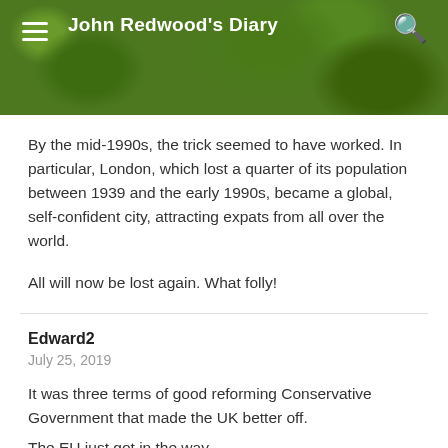John Redwood's Diary
By the mid-1990s, the trick seemed to have worked. In particular, London, which lost a quarter of its population between 1939 and the early 1990s, became a global, self-confident city, attracting expats from all over the world.
All will now be lost again. What folly!
Edward2
July 25, 2019
It was three terms of good reforming Conservative Government that made the UK better off. The EU just got in the way.